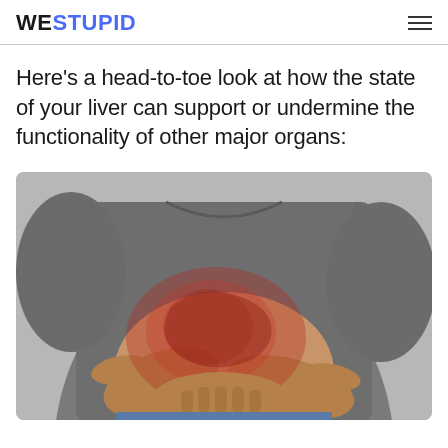WERSTUPID
Here's a head-to-toe look at how the state of your liver can support or undermine the functionality of other major organs:
[Figure (photo): A person in a grey t-shirt clutching their abdomen/liver area with both hands, with a reddish highlight over the liver region indicating pain or inflammation.]